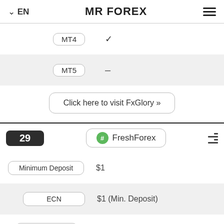EN  MR FOREX
| Platform | Available |
| --- | --- |
| MT4 | ✓ |
| MT5 | – |
Click here to visit FxGlory »
29  FreshForex
| Field | Value |
| --- | --- |
| Minimum Deposit | $1 |
| ECN | $1 (Min. Deposit) |
| Leverage | ≤2000:1 |
| MT4 | ✓ |